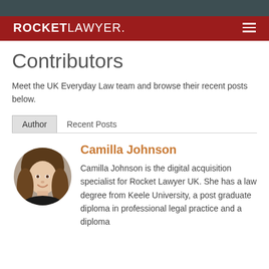ROCKETLAWYER.
Contributors
Meet the UK Everyday Law team and browse their recent posts below.
Author | Recent Posts
[Figure (photo): Circular headshot photo of Camilla Johnson, a woman with shoulder-length brown hair, smiling]
Camilla Johnson
Camilla Johnson is the digital acquisition specialist for Rocket Lawyer UK. She has a law degree from Keele University, a post graduate diploma in professional legal practice and a diploma